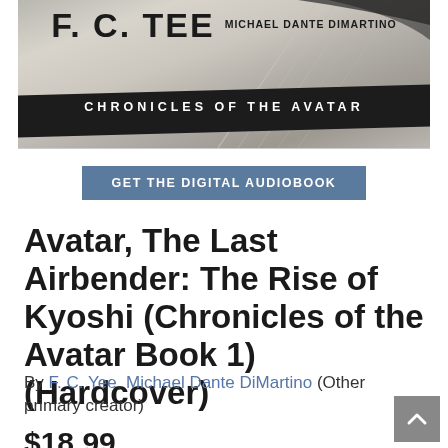[Figure (illustration): Book cover for 'Chronicles of the Avatar' by F. C. Yee and Michael Dante DiMartino, showing authors' names and series title on a grey/beige background with a dark brush stroke accent]
GET THE DIGITAL AUDIOBOOK
Avatar, The Last Airbender: The Rise of Kyoshi (Chronicles of the Avatar Book 1) (Hardcover)
By F. C. Yee, Michael Dante DiMartino (Other primary creator)
$18.99